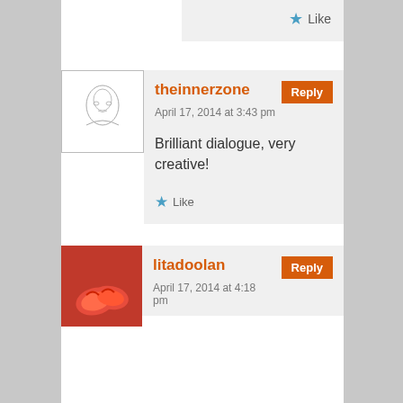[Figure (screenshot): Partial top comment card showing a Like button with blue star icon]
theinnerzone
Reply
April 17, 2014 at 3:43 pm
Brilliant dialogue, very creative!
Like
[Figure (illustration): Sketch-like avatar image in white box with thin border]
litadoolan
Reply
April 17, 2014 at 4:18 pm
[Figure (photo): Photo of orange/red shoes as avatar]